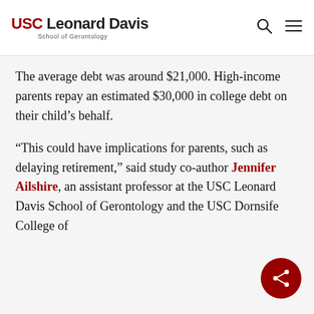USC Leonard Davis School of Gerontology
The average debt was around $21,000. High-income parents repay an estimated $30,000 in college debt on their child’s behalf.
“This could have implications for parents, such as delaying retirement,” said study co-author Jennifer Ailshire, an assistant professor at the USC Leonard Davis School of Gerontology and the USC Dornsife College of